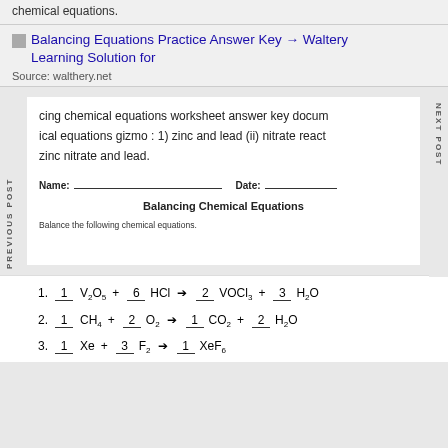chemical equations.
[Figure (screenshot): Thumbnail icon for Balancing Equations Practice Answer Key → Waltery Learning Solution for]
Source: walthery.net
cing chemical equations worksheet answer key docum ical equations gizmo : 1) zinc and lead (ii) nitrate react zinc nitrate and lead.
PREVIOUS POST
NEXT POST
Name: _________________ Date: ___________
Balancing Chemical Equations
Balance the following chemical equations.